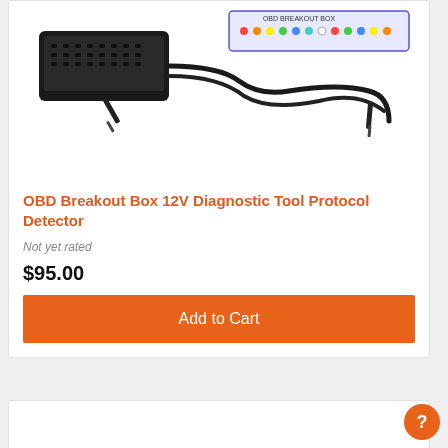[Figure (photo): OBD Breakout Box 12V Diagnostic Tool with black OBD connector and two probe wires on white background]
OBD Breakout Box 12V Diagnostic Tool Protocol Detector
Not yet rated
$95.00
Add to Cart